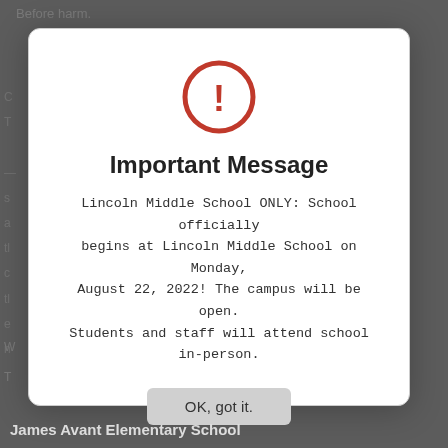Before harm.
C
T
s
a
tl
c
tl
e
n
Tl
[Figure (screenshot): Modal dialog box with a red circle exclamation icon, title 'Important Message', body text about Lincoln Middle School, and an 'OK, got it.' button]
Important Message
Lincoln Middle School ONLY: School officially begins at Lincoln Middle School on Monday, August 22, 2022! The campus will be open. Students and staff will attend school in-person.
W
T
James Avant Elementary School